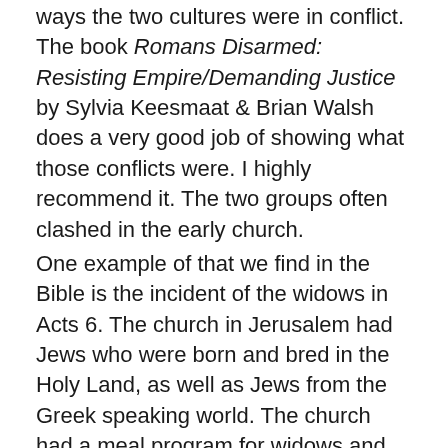ways the two cultures were in conflict. The book Romans Disarmed: Resisting Empire/Demanding Justice by Sylvia Keesmaat & Brian Walsh does a very good job of showing what those conflicts were. I highly recommend it. The two groups often clashed in the early church.
One example of that we find in the Bible is the incident of the widows in Acts 6. The church in Jerusalem had Jews who were born and bred in the Holy Land, as well as Jews from the Greek speaking world. The church had a meal program for widows and the Greek widows complained they were not getting as much food as the Hebrew speaking widows. The apostles decided to appoint a committee to deal with the problem. (This was the first board of deacons, by the way.)
They appointed “Stephen, a man full of faith and the Holy Spirit, together with Philip, Prochorus, Nicanor, Timon,